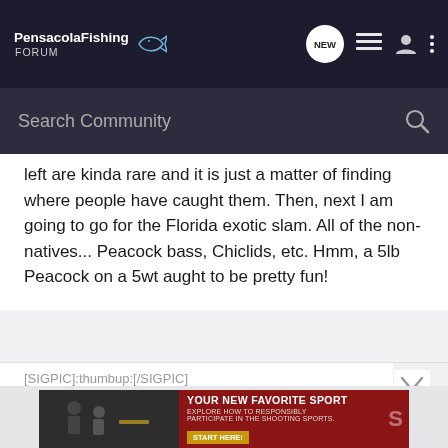Pensacola Fishing FORUM
Search Community
left are kinda rare and it is just a matter of finding where people have caught them. Then, next I am going to go for the Florida exotic slam. All of the non-natives... Peacock bass, Chiclids, etc. Hmm, a 5lb Peacock on a 5wt aught to be pretty fun!
[SIGPIC]:thumbup:[/SIGPIC]
2003 TwinVee BayCat 19 -- Zuke 140 4-Stroke
[Figure (screenshot): Advertisement banner: YOUR NEW FAVORITE SPORT – EXPLORE HOW TO RESPONSIBLY PARTICIPATE IN THE SHOOTING SPORTS. START HERE!]